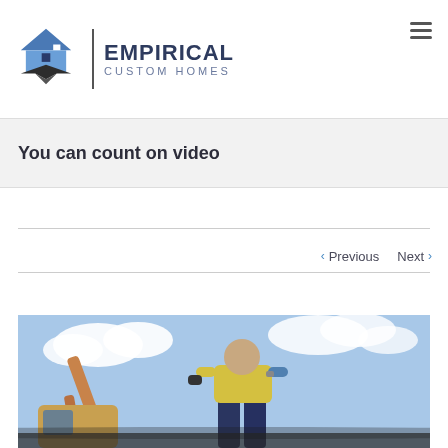[Figure (logo): Empirical Custom Homes logo with house icon and company name]
You can count on video
< Previous   Next >
[Figure (photo): Construction worker standing with excavator machinery against a cloudy sky, partially visible]